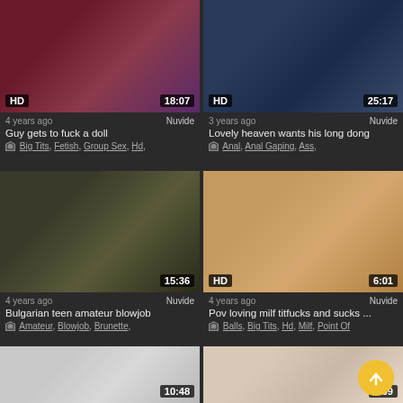[Figure (screenshot): Video thumbnail grid showing adult video listings with thumbnails, durations, ages, source labels, titles, and tags]
4 years ago | Nuvide | Guy gets to fuck a doll | Big Tits, Fetish, Group Sex, Hd,
3 years ago | Nuvide | Lovely heaven wants his long dong | Anal, Anal Gaping, Ass,
4 years ago | Nuvide | Bulgarian teen amateur blowjob | Amateur, Blowjob, Brunette,
4 years ago | Nuvide | Pov loving milf titfucks and sucks ... | Balls, Big Tits, Hd, Milf, Point Of